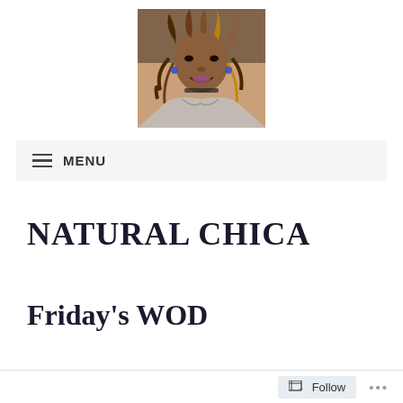[Figure (photo): Profile photo of a woman with dreadlocked hair, wearing a silver top and blue earrings, smiling at the camera.]
MENU
NATURAL CHICA
Friday's WOD
Follow ...